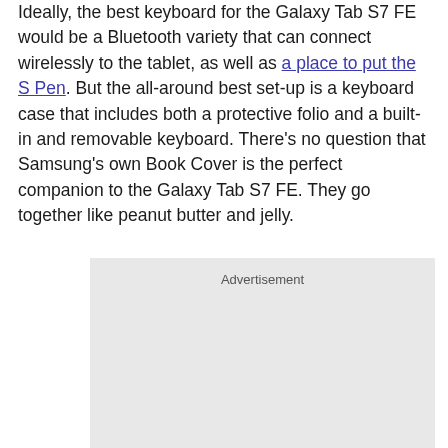Ideally, the best keyboard for the Galaxy Tab S7 FE would be a Bluetooth variety that can connect wirelessly to the tablet, as well as a place to put the S Pen. But the all-around best set-up is a keyboard case that includes both a protective folio and a built-in and removable keyboard. There's no question that Samsung's own Book Cover is the perfect companion to the Galaxy Tab S7 FE. They go together like peanut butter and jelly.
[Figure (other): Advertisement placeholder box with light gray background]